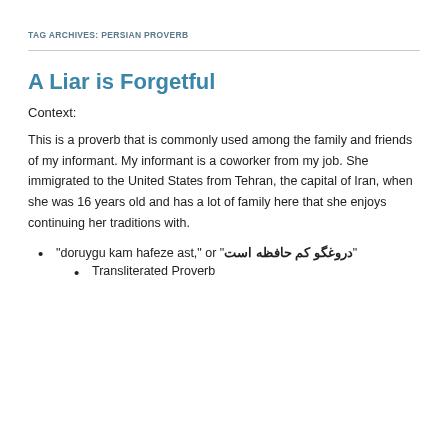TAG ARCHIVES: PERSIAN PROVERB
A Liar is Forgetful
Context:
This is a proverb that is commonly used among the family and friends of my informant. My informant is a coworker from my job. She immigrated to the United States from Tehran, the capital of Iran, when she was 16 years old and has a lot of family here that she enjoys continuing her traditions with.
“doruygu kam hafeze ast,” or “دروغگو کم حافظه است”
Transliterated Proverb